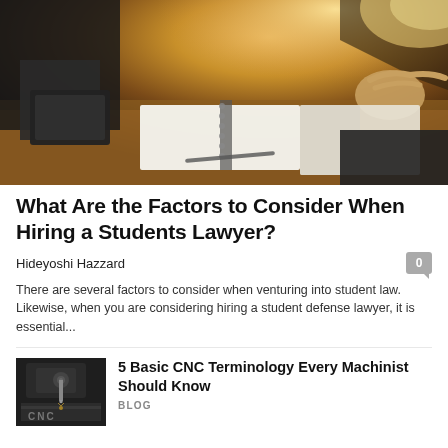[Figure (photo): Two people in business attire at a desk with a notebook, tablet and pen — a meeting or consultation scene with warm brown tones and sunlight in background]
What Are the Factors to Consider When Hiring a Students Lawyer?
Hideyoshi Hazzard
There are several factors to consider when venturing into student law. Likewise, when you are considering hiring a student defense lawyer, it is essential...
[Figure (photo): CNC machine close-up with metallic components, dark industrial setting with CNC text visible]
5 Basic CNC Terminology Every Machinist Should Know
BLOG